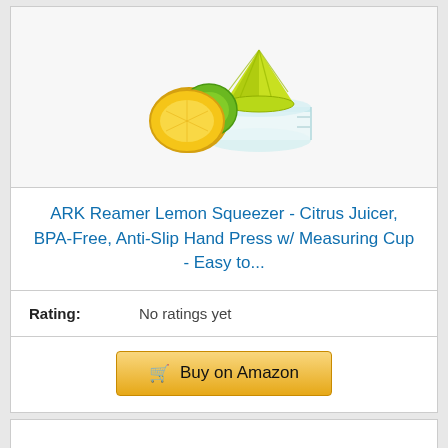[Figure (illustration): A citrus juicer/reamer in yellow-green color with a glass measuring cup base, alongside a halved lemon and a lime]
ARK Reamer Lemon Squeezer - Citrus Juicer, BPA-Free, Anti-Slip Hand Press w/ Measuring Cup - Easy to...
Rating: No ratings yet
Buy on Amazon